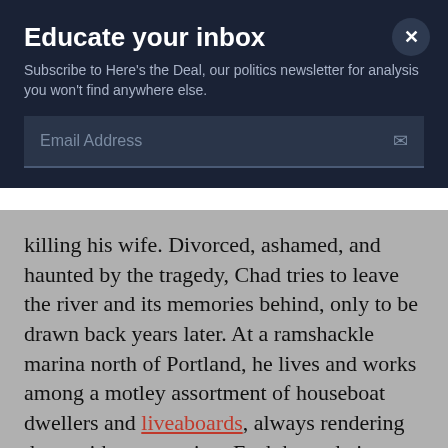Educate your inbox
Subscribe to Here's the Deal, our politics newsletter for analysis you won't find anywhere else.
Email Address
killing his wife. Divorced, ashamed, and haunted by the tragedy, Chad tries to leave the river and its memories behind, only to be drawn back years later. At a ramshackle marina north of Portland, he lives and works among a motley assortment of houseboat dwellers and liveaboards, always rendering them with compassion. Each have their own story and reasons to distrust or embrace a newcomer who can't quite commit to being one of them. Brian